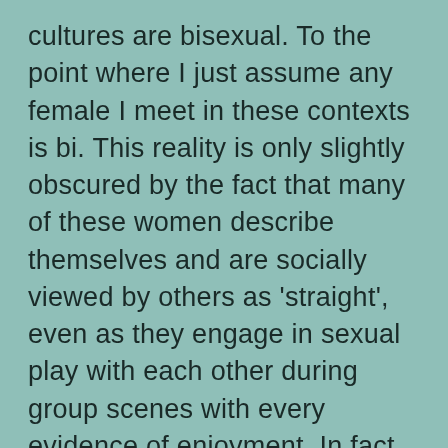cultures are bisexual. To the point where I just assume any female I meet in these contexts is bi. This reality is only slightly obscured by the fact that many of these women describe themselves and are socially viewed by others as 'straight', even as they engage in sexual play with each other during group scenes with every evidence of enjoyment. In fact, in these cultures the operational definition of 'straight female' seems to be one who has recreational but not relational/romantic sex with other women.
Second, this pattern is absolutely not mirrored